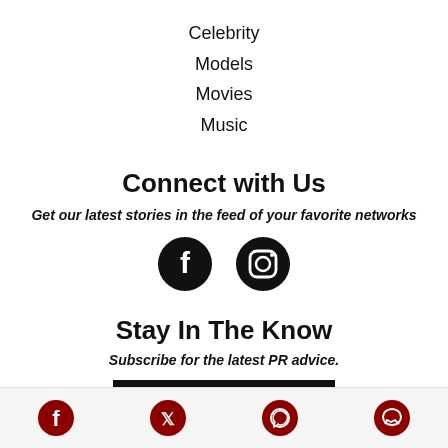Celebrity
Models
Movies
Music
Connect with Us
Get our latest stories in the feed of your favorite networks
[Figure (logo): Facebook and Instagram social media icons (black circular icons)]
Stay In The Know
Subscribe for the latest PR advice.
SUBSCRIBE TODAY
[Figure (logo): Footer social media icons: Facebook, Twitter, WhatsApp, Messenger (dark red/maroon circular icons)]